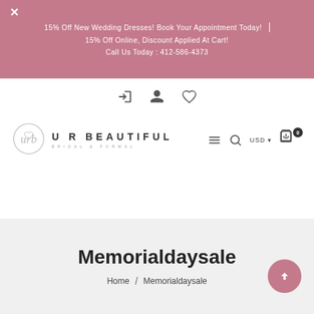15% Off New Wedding Dresses! Book Your Appointment Today! | 15% Off Online, Discount Applied At Cart! | Call Us Today : 412-586-4373
[Figure (logo): U R Beautiful Bridal & Formal logo with heart monogram]
Memorialdaysale
Home / Memorialdaysale